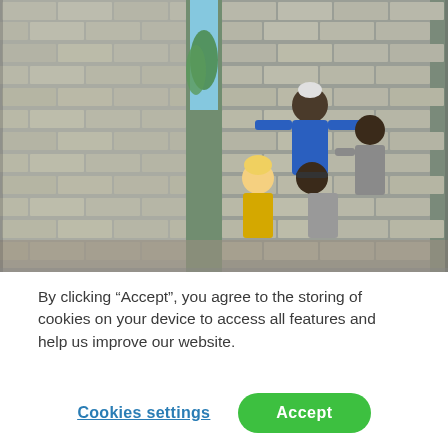[Figure (photo): Outdoor photo showing four people posing in front of a concrete block/brick wall under construction. One person in a blue shirt stands at the back, one woman in a yellow top sits on the left, one man in a grey shirt sits in the middle, and one person in grey stands on the right. Trees and blue sky visible through an opening in the wall.]
By clicking “Accept”, you agree to the storing of cookies on your device to access all features and help us improve our website.
Cookies settings
Accept